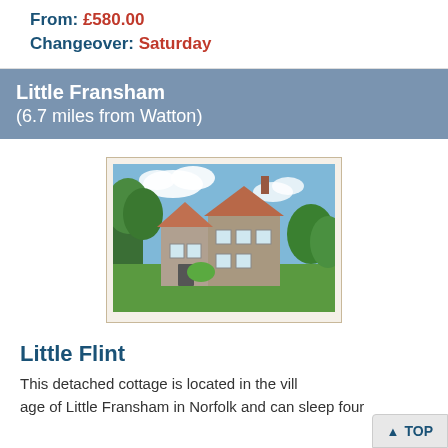From: £580.00
Changeover: Saturday
Little Fransham
(6.7 miles from Watton)
[Figure (photo): Photo of Little Flint cottage, a detached flint stone two-storey cottage with red-tiled roof, white windows, surrounded by green lawn and garden, blue sky with clouds]
Little Flint
This detached cottage is located in the village of Little Fransham in Norfolk and can sleep four